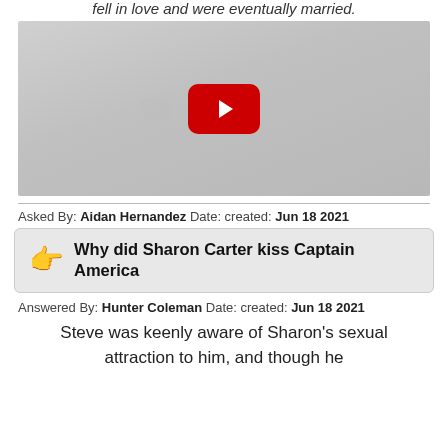fell in love and were eventually married.
[Figure (screenshot): YouTube video thumbnail placeholder — grey background with YouTube play button icon]
Asked By: Aidan Hernandez Date: created: Jun 18 2021
Why did Sharon Carter kiss Captain America
Answered By: Hunter Coleman Date: created: Jun 18 2021
Steve was keenly aware of Sharon's sexual attraction to him, and though he